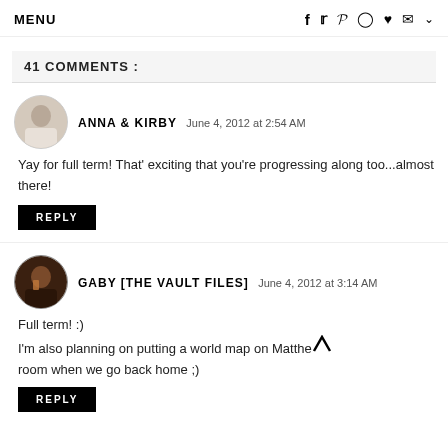MENU  f  t  p  o  ♥  ✉  ˅
41 COMMENTS :
ANNA & KIRBY  June 4, 2012 at 2:54 AM
Yay for full term! That' exciting that you're progressing along too...almost there!
REPLY
GABY [THE VAULT FILES]  June 4, 2012 at 3:14 AM
Full term! :)
I'm also planning on putting a world map on Matthew's room when we go back home ;)
REPLY